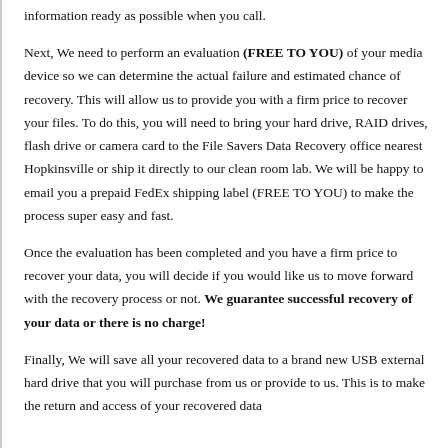information ready as possible when you call.
Next, We need to perform an evaluation (FREE TO YOU) of your media device so we can determine the actual failure and estimated chance of recovery. This will allow us to provide you with a firm price to recover your files. To do this, you will need to bring your hard drive, RAID drives, flash drive or camera card to the File Savers Data Recovery office nearest Hopkinsville or ship it directly to our clean room lab. We will be happy to email you a prepaid FedEx shipping label (FREE TO YOU) to make the process super easy and fast.
Once the evaluation has been completed and you have a firm price to recover your data, you will decide if you would like us to move forward with the recovery process or not. We guarantee successful recovery of your data or there is no charge!
Finally, We will save all your recovered data to a brand new USB external hard drive that you will purchase from us or provide to us. This is to make the return and access of your recovered data